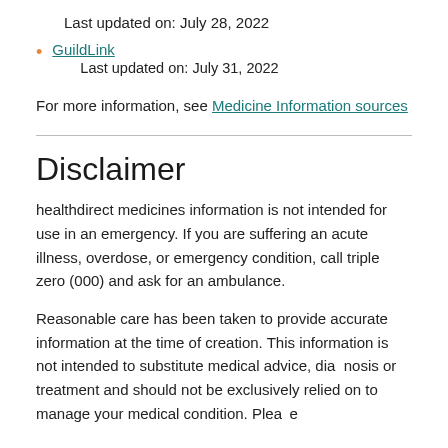Last updated on: July 28, 2022
GuildLink
Last updated on: July 31, 2022
For more information, see Medicine Information sources
Disclaimer
healthdirect medicines information is not intended for use in an emergency. If you are suffering an acute illness, overdose, or emergency condition, call triple zero (000) and ask for an ambulance.
Reasonable care has been taken to provide accurate information at the time of creation. This information is not intended to substitute medical advice, diagnosis or treatment and should not be exclusively relied on to manage your medical condition. Please...